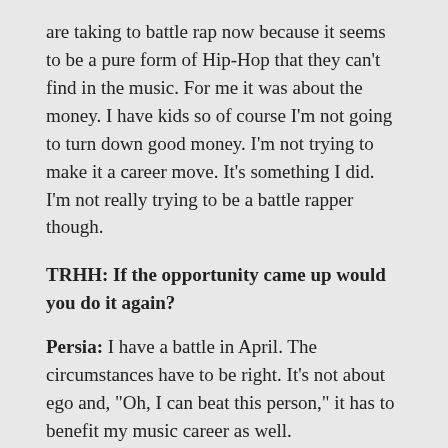are taking to battle rap now because it seems to be a pure form of Hip-Hop that they can't find in the music. For me it was about the money. I have kids so of course I'm not going to turn down good money. I'm not trying to make it a career move. It's something I did. I'm not really trying to be a battle rapper though.
TRHH: If the opportunity came up would you do it again?
Persia: I have a battle in April. The circumstances have to be right. It's not about ego and, "Oh, I can beat this person," it has to benefit my music career as well.
TRHH: I didn't go into it the first time we spoke but I wanted to ask you about your experience on The White Rapper Show. Do you think it was a negative or a positive for your career?